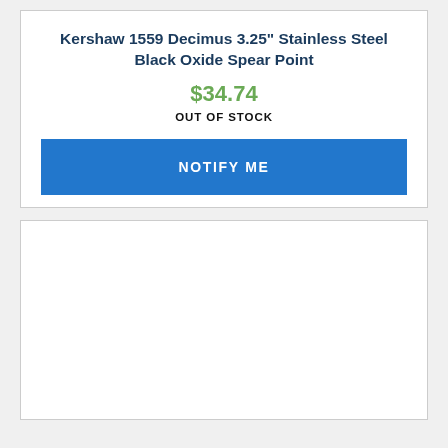Kershaw 1559 Decimus 3.25" Stainless Steel Black Oxide Spear Point
$34.74
OUT OF STOCK
NOTIFY ME
[Figure (other): Empty white card/panel below the product listing]